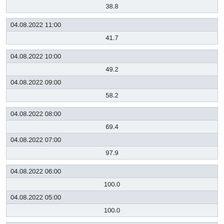| 38.8 |
| 04.08.2022 11:00 |
| 41.7 |
| 04.08.2022 10:00 |
| 49.2 |
| 04.08.2022 09:00 |
| 58.2 |
| 04.08.2022 08:00 |
| 69.4 |
| 04.08.2022 07:00 |
| 97.9 |
| 04.08.2022 06:00 |
| 100.0 |
| 04.08.2022 05:00 |
| 100.0 |
| 04.08.2022 04:00 |